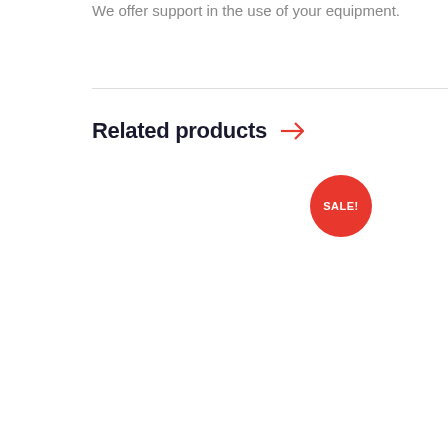We offer support in the use of your equipment.
Related products →
[Figure (other): SALE! badge — a red circle with white bold text reading SALE!]